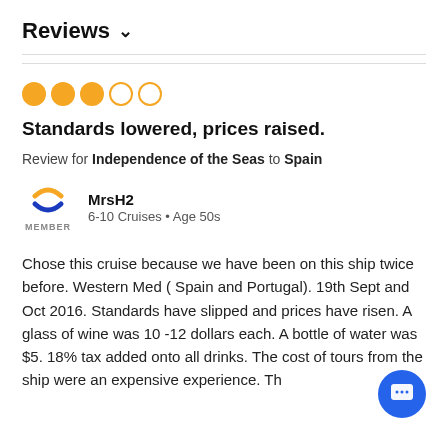Reviews ∨
[Figure (other): 3 filled orange circles and 2 empty orange circles representing a 3 out of 5 star rating]
Standards lowered, prices raised.
Review for Independence of the Seas to Spain
MrsH2
6-10 Cruises • Age 50s
Chose this cruise because we have been on this ship twice before. Western Med ( Spain and Portugal). 19th Sept and Oct 2016. Standards have slipped and prices have risen. A glass of wine was 10 -12 dollars each. A bottle of water was $5. 18% tax added onto all drinks. The cost of tours from the ship were an expensive experience. Th...